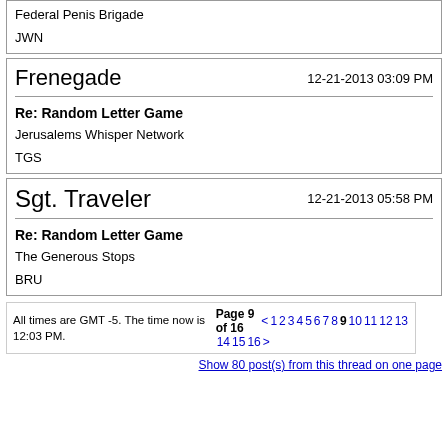Federal Penis Brigade

JWN
Frenegade
12-21-2013 03:09 PM
Re: Random Letter Game
Jerusalems Whisper Network
TGS
Sgt. Traveler
12-21-2013 05:58 PM
Re: Random Letter Game
The Generous Stops
BRU
All times are GMT -5. The time now is 12:03 PM.
Page 9 of 16
< 1 2 3 4 5 6 7 8 9 10 11 12 13 14 15 16 >
Show 80 post(s) from this thread on one page